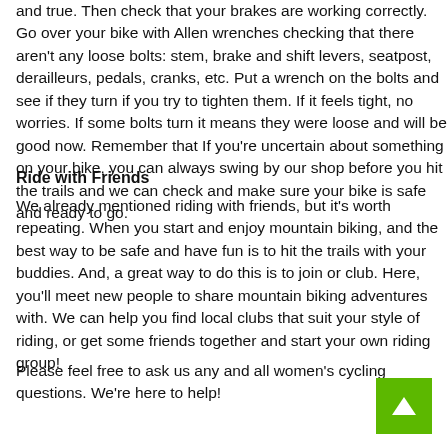and true. Then check that your brakes are working correctly. Go over your bike with Allen wrenches checking that there aren't any loose bolts: stem, brake and shift levers, seatpost, derailleurs, pedals, cranks, etc. Put a wrench on the bolts and see if they turn if you try to tighten them. If it feels tight, no worries. If some bolts turn it means they were loose and will be good now. Remember that If you're uncertain about something on your bike, you can always swing by our shop before you hit the trails and we can check and make sure your bike is safe and ready to go.
Ride with Friends
We already mentioned riding with friends, but it's worth repeating. When you start and enjoy mountain biking, and the best way to be safe and have fun is to hit the trails with your buddies. And, a great way to do this is to join or club. Here, you'll meet new people to share mountain biking adventures with. We can help you find local clubs that suit your style of riding, or get some friends together and start your own riding group!
Please feel free to ask us any and all women's cycling questions. We're here to help!